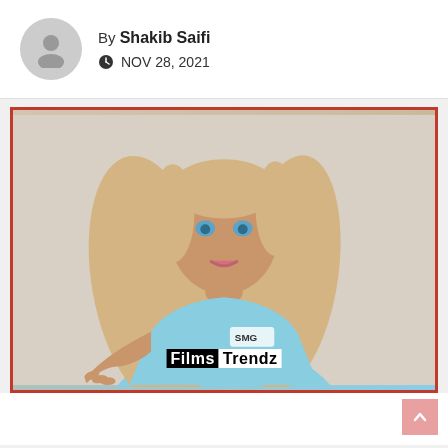By Shakib Saifi
NOV 28, 2021
[Figure (photo): A blonde woman wearing a light blue crop top with 'SMG' branding, posing against a light background. A 'FilmsTrendz' watermark is displayed at the bottom of the image.]
FilmsTrendz